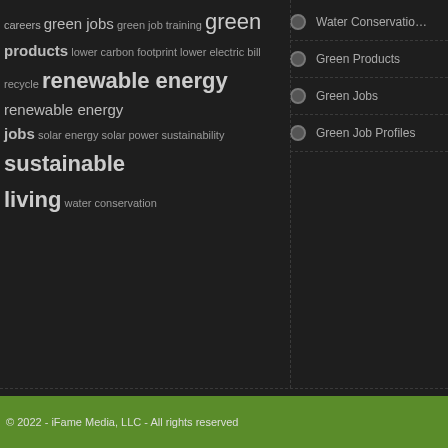[Figure (infographic): Tag cloud with green/sustainability keywords in varying sizes: careers, green jobs, green job training, green products, lower carbon footprint, lower electric bill, recycle, renewable energy, renewable energy jobs, solar energy, solar power, sustainability, sustainable living, water conservation]
Water Conservation
Green Products
Green Jobs
Green Job Profiles
JOIN THE CONVERSATION
Like Us! Follow Us! Share Us!
[Figure (infographic): Row of social media icon buttons: Twitter (blue), Facebook (dark blue), RSS (orange-brown), StumbleUpon (red-orange), Pinterest (dark red), and one more icon]
© 2022 - iFame Media, LLC - All rights reserved